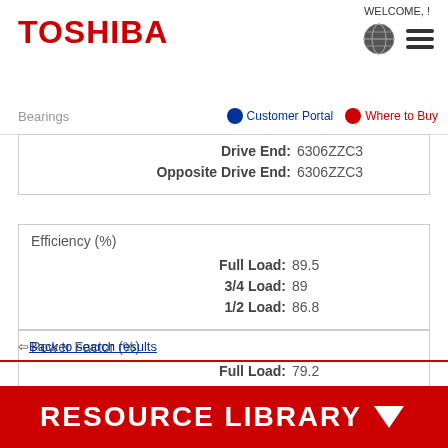TOSHIBA | WELCOME, !
Bearings | Customer Portal | Where to Buy
| Property | Value |
| --- | --- |
| Drive End: | 6306ZZC3 |
| Opposite Drive End: | 6306ZZC3 |
Efficiency (%)
| Load | Value |
| --- | --- |
| Full Load: | 89.5 |
| 3/4 Load: | 89 |
| 1/2 Load: | 86.8 |
Power Factor (%)
| Load | Value |
| --- | --- |
| Full Load: | 79.2 |
| 3/4 Load: | 75.1 |
| 1/2 Load: | 65.4 |
⇦ Back to search results
RESOURCE LIBRARY ✓